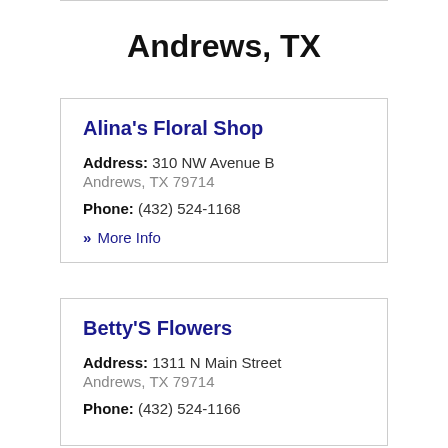Andrews, TX
Alina's Floral Shop
Address: 310 NW Avenue B Andrews, TX 79714
Phone: (432) 524-1168
» More Info
Betty'S Flowers
Address: 1311 N Main Street Andrews, TX 79714
Phone: (432) 524-1166